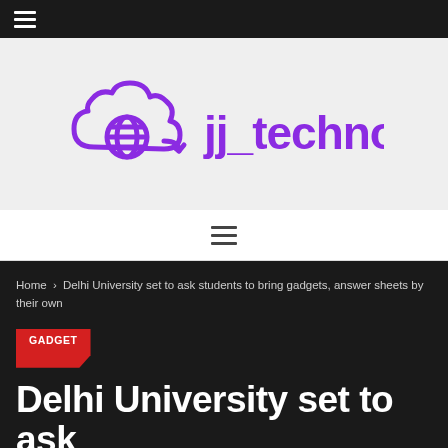☰ (navigation menu icon)
[Figure (logo): jj_technology logo with purple cloud and globe icon, purple bold text reading jj_technology]
≡ (secondary navigation menu icon)
Home > Delhi University set to ask students to bring gadgets, answer sheets by their own
GADGET
Delhi University set to ask